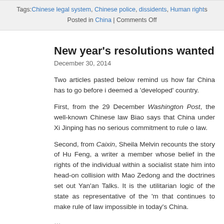Tags: Chinese legal system, Chinese police, dissidents, Human rights
Posted in China | Comments Off
New year's resolutions wanted
December 30, 2014
Two articles pasted below remind us how far China has to go before it is deemed a 'developed' country.
First, from the 29 December Washington Post, the well-known Chinese lawyer Teng Biao says that China under Xi Jinping has no serious commitment to rule of law.
Second, from Caixin, Sheila Melvin recounts the story of Hu Feng, a writer and party member whose belief in the rights of the individual within a socialist state brought him into head-on collision with Mao Zedong and the doctrines set out in the Yan'an Talks. It is the utilitarian logic of the state as representative of the 'masses' that continues to make rule of law impossible in today's China.
...
China's empty promise of rule by law
By Teng Biao December 28 at 6:52 PM
Teng Biao is a human rights lawyer and a visiting fellow at Harvard Law Sch…